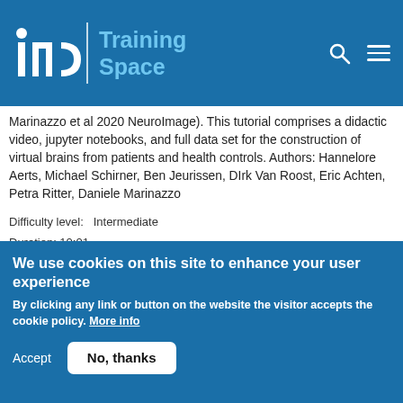INCF Training Space
Marinazzo et al 2020 NeuroImage). This tutorial comprises a didactic video, jupyter notebooks, and full data set for the construction of virtual brains from patients and health controls. Authors: Hannelore Aerts, Michael Schirner, Ben Jeurissen, DIrk Van Roost, Eric Achten, Petra Ritter, Daniele Marinazzo
Difficulty level:   Intermediate
Duration: 10:01
Speaker: :
We use cookies on this site to enhance your user experience
By clicking any link or button on the website the visitor accepts the cookie policy. More info
Accept   No, thanks